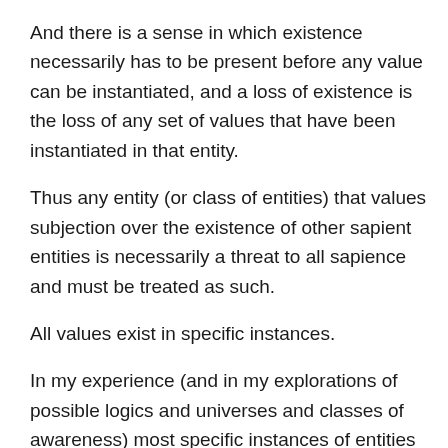And there is a sense in which existence necessarily has to be present before any value can be instantiated, and a loss of existence is the loss of any set of values that have been instantiated in that entity.
Thus any entity (or class of entities) that values subjection over the existence of other sapient entities is necessarily a threat to all sapience and must be treated as such.
All values exist in specific instances.
In my experience (and in my explorations of possible logics and universes and classes of awareness) most specific instances of entities capable of holding values value their own existence (I am certainly in that class).
There does not exist any general type of me. I am a